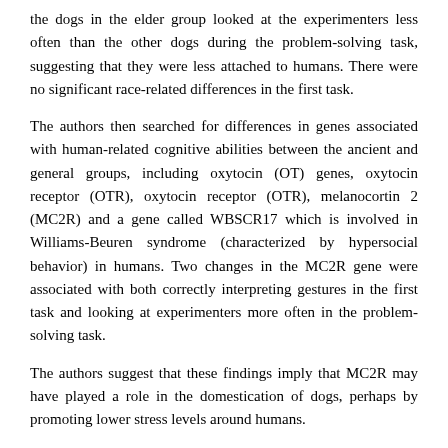the dogs in the elder group looked at the experimenters less often than the other dogs during the problem-solving task, suggesting that they were less attached to humans. There were no significant race-related differences in the first task.
The authors then searched for differences in genes associated with human-related cognitive abilities between the ancient and general groups, including oxytocin (OT) genes, oxytocin receptor (OTR), oxytocin receptor (OTR), melanocortin 2 (MC2R) and a gene called WBSCR17 which is involved in Williams-Beuren syndrome (characterized by hypersocial behavior) in humans. Two changes in the MC2R gene were associated with both correctly interpreting gestures in the first task and looking at experimenters more often in the problem-solving task.
The authors suggest that these findings imply that MC2R may have played a role in the domestication of dogs, perhaps by promoting lower stress levels around humans.
Reference: Tonoike A, Otaki Kichi, Terauchi G, et al. Identification of genes associated with human-canine communication in canine evolution. Sci Rep. 2022;12(1):6859. doi: 10.1038/s41598-022-11170-